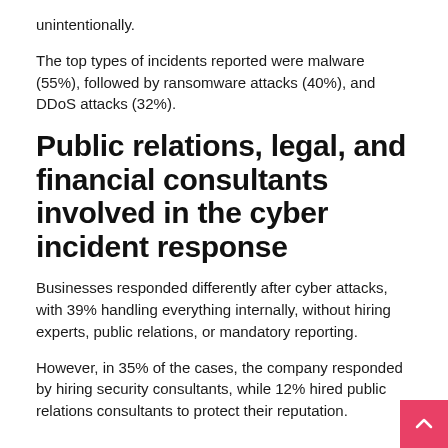unintentionally.
The top types of incidents reported were malware (55%), followed by ransomware attacks (40%), and DDoS attacks (32%).
Public relations, legal, and financial consultants involved in the cyber incident response
Businesses responded differently after cyber attacks, with 39% handling everything internally, without hiring experts, public relations, or mandatory reporting.
However, in 35% of the cases, the company responded by hiring security consultants, while 12% hired public relations consultants to protect their reputation.